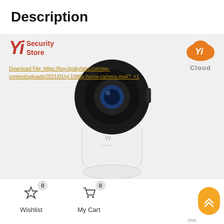Description
[Figure (photo): YI 1080p Home Camera product photo showing a white smart security camera with black spherical lens housing, on a white/light grey background. YI Security Store logo top-left, YI Cloud logo top-right, download link text overlay.]
Download File: https://buy.tipskylabs.com/wp-content/uploads/2021/01/yi-1080p-home-camera.mp4?_=1
Wishlist 0
My Cart 0